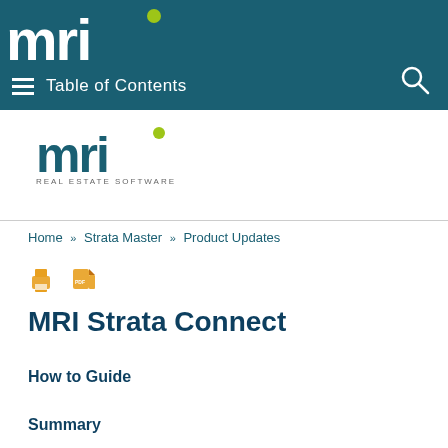[Figure (logo): MRI Real Estate Software logo in white on dark teal header background]
Table of Contents
[Figure (logo): MRI Real Estate Software logo, color version on white background]
Home » Strata Master » Product Updates
[Figure (other): Print and PDF icons in orange/amber color]
MRI Strata Connect
How to Guide
Summary